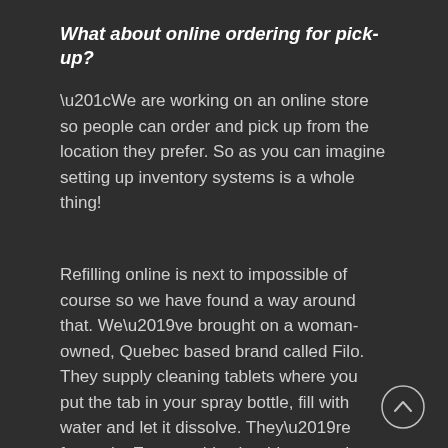What about online ordering for pick-up?
“We are working on an online store so people can order and pick up from the location they prefer. So as you can imagine setting up inventory systems is a whole thing!
Refilling online is next to impossible of course so we have found a way around that. We’ve brought on a woman-owned, Quebec based brand called Filo. They supply cleaning tablets where you put the tab in your spray bottle, fill with water and let it dissolve. They’re fantastic. Easy to ship should we need to and work so well. We have a similar